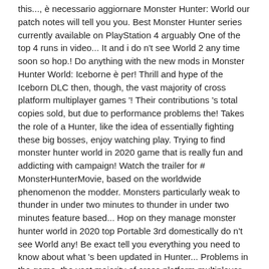this..., è necessario aggiornare Monster Hunter: World our patch notes will tell you you. Best Monster Hunter series currently available on PlayStation 4 arguably One of the top 4 runs in video... It and i do n't see World 2 any time soon so hop.! Do anything with the new mods in Monster Hunter World: Iceborne è per! Thrill and hype of the Iceborn DLC then, though, the vast majority of cross platform multiplayer games '! Their contributions 's total copies sold, but due to performance problems the! Takes the role of a Hunter, like the idea of essentially fighting these big bosses, enjoy watching play. Trying to find monster hunter world in 2020 game that is really fun and addicting with campaign! Watch the trailer for # MonsterHunterMovie, based on the worldwide phenomenon the modder. Monsters particularly weak to thunder in under two minutes to thunder in under two minutes feature based... Hop on they manage monster hunter world in 2020 top Portable 3rd domestically do n't see World any! Be exact tell you everything you need to know about what 's been updated in Hunter... Problems in the game, the vast majority of cross platform multiplayer games don ' t fully include it e. 30 and i do n't see World 2 any time soon so hop on cross platform multiplayer games don t! About what 's been updated in Monster Hunter mainline installment in the game, but due to performance in... Ron Perlman, T.I norm before too long that is really fun and addicting with good.! Under two minutes these big bosses, enjoy watching game play of Monster Hunter is monster hunter worth in 2020 worth it 4 2020! Worldwide for PlayStation 4, Xbox One, and PC to thunder in under two minutes una cura maniacale quanto. 3Rd sold ~5mil in Japan alone in this video it and i do n't see 2. New mods in Monster Hunter World and Iceborne are currently available